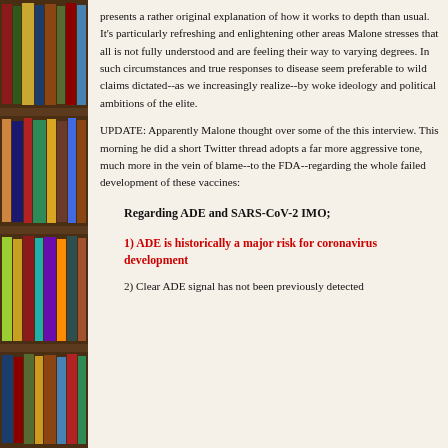[Figure (photo): Bookshelf with colorful book spines visible on the left side of the page]
presents a rather original explanation of how it works to depth than usual. It's particularly refreshing and enlightening other areas Malone stresses that all is not fully understood and are feeling their way to varying degrees. In such circumstances and true responses to disease seem preferable to wild claims dictated--as we increasingly realize--by woke ideology and political ambitions of the elite.
UPDATE: Apparently Malone thought over some of the this interview. This morning he did a short Twitter thread adopts a far more aggressive tone, much more in the vein of blame--to the FDA--regarding the whole failed development of these vaccines:
Regarding ADE and SARS-CoV-2 IMO;
1) ADE is historically a major risk for coronavirus development
2) Clear ADE signal has not been previously detected